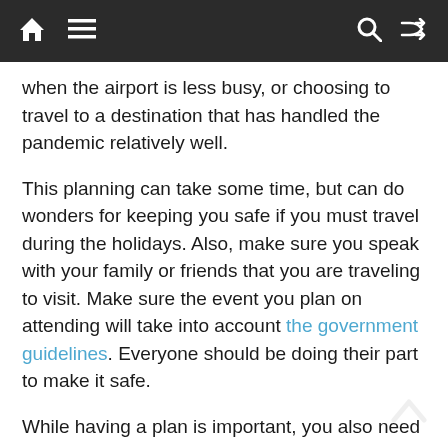[Navigation bar with home, menu, search, shuffle icons]
when the airport is less busy, or choosing to travel to a destination that has handled the pandemic relatively well.
This planning can take some time, but can do wonders for keeping you safe if you must travel during the holidays. Also, make sure you speak with your family or friends that you are traveling to visit. Make sure the event you plan on attending will take into account the government guidelines. Everyone should be doing their part to make it safe.
While having a plan is important, you also need to be flexible. Things can change on a dime in the current state of the world. So try to leave a little wiggle room in your plans for the unexpected.